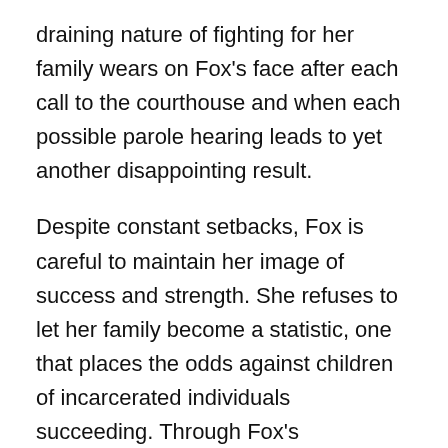draining nature of fighting for her family wears on Fox's face after each call to the courthouse and when each possible parole hearing leads to yet another disappointing result.
Despite constant setbacks, Fox is careful to maintain her image of success and strength. She refuses to let her family become a statistic, one that places the odds against children of incarcerated individuals succeeding. Through Fox's unwavering love for her husband and children, Bradley paints a captivating portrait of the undeniable perseverance of Black mothers. While Fox and her own mother have different views on how best to approach the penal